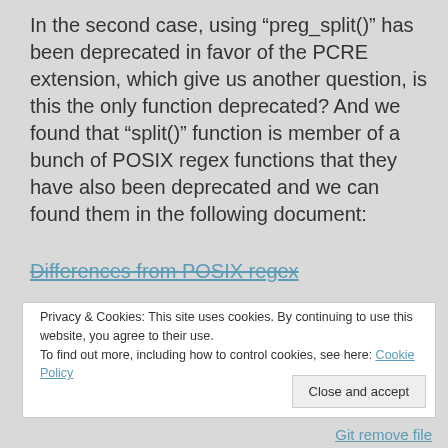In the second case, using “preg_split()” has been deprecated in favor of the PCRE extension, which give us another question, is this the only function deprecated? And we found that “split()” function is member of a bunch of POSIX regex functions that they have also been deprecated and we can found them in the following document:
Differences from POSIX regex
Privacy & Cookies: This site uses cookies. By continuing to use this website, you agree to their use.
To find out more, including how to control cookies, see here: Cookie Policy
Close and accept
Git remove file